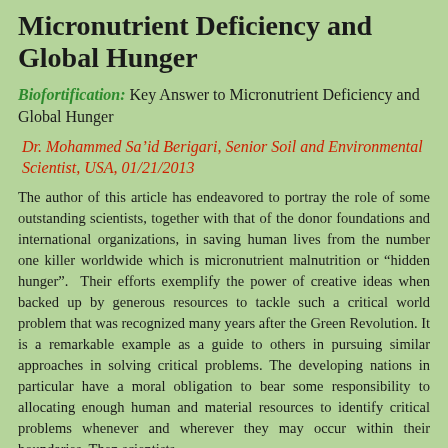Micronutrient Deficiency and Global Hunger
Biofortification: Key Answer to Micronutrient Deficiency and Global Hunger
Dr. Mohammed Sa’id Berigari, Senior Soil and Environmental Scientist, USA, 01/21/2013
The author of this article has endeavored to portray the role of some outstanding scientists, together with that of the donor foundations and international organizations, in saving human lives from the number one killer worldwide which is micronutrient malnutrition or “hidden hunger”.  Their efforts exemplify the power of creative ideas when backed up by generous resources to tackle such a critical world problem that was recognized many years after the Green Revolution. It is a remarkable example as a guide to others in pursuing similar approaches in solving critical problems. The developing nations in particular have a moral obligation to bear some responsibility to allocating enough human and material resources to identify critical problems whenever and wherever they may occur within their boundaries. Then scientists